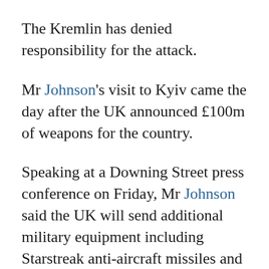The Kremlin has denied responsibility for the attack.
Mr Johnson's visit to Kyiv came the day after the UK announced £100m of weapons for the country.
Speaking at a Downing Street press conference on Friday, Mr Johnson said the UK will send additional military equipment including Starstreak anti-aircraft missiles and 800 anti-tank missiles.
It followed an appeal from Ukraine for more arms as it prepares for an expected Russian offensive in the east of the country, after